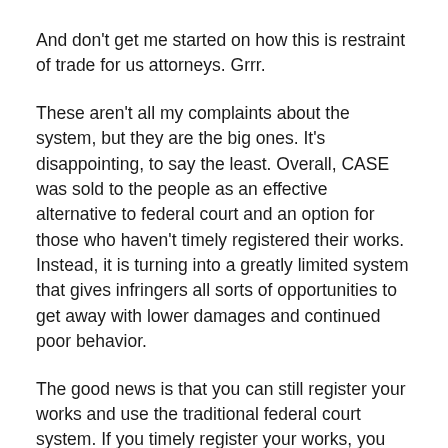And don't get me started on how this is restraint of trade for us attorneys. Grrr.
These aren't all my complaints about the system, but they are the big ones. It's disappointing, to say the least. Overall, CASE was sold to the people as an effective alternative to federal court and an option for those who haven't timely registered their works. Instead, it is turning into a greatly limited system that gives infringers all sorts of opportunities to get away with lower damages and continued poor behavior.
The good news is that you can still register your works and use the traditional federal court system. If you timely register your works, you also give attorneys like me a great tool to negotiate a settlement on your behalf without having to resort to filing suit at all.